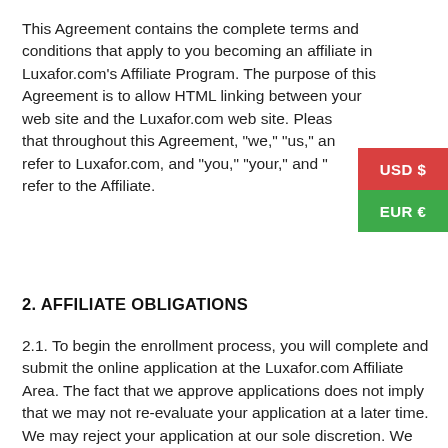This Agreement contains the complete terms and conditions that apply to you becoming an affiliate in Luxafor.com's Affiliate Program. The purpose of this Agreement is to allow HTML linking between your web site and the Luxafor.com web site. Please note that throughout this Agreement, "we," "us," and "our" refer to Luxafor.com, and "you," "your," and "your site" refer to the Affiliate.
2. AFFILIATE OBLIGATIONS
2.1. To begin the enrollment process, you will complete and submit the online application at the Luxafor.com Affiliate Area. The fact that we approve applications does not imply that we may not re-evaluate your application at a later time. We may reject your application at our sole discretion. We